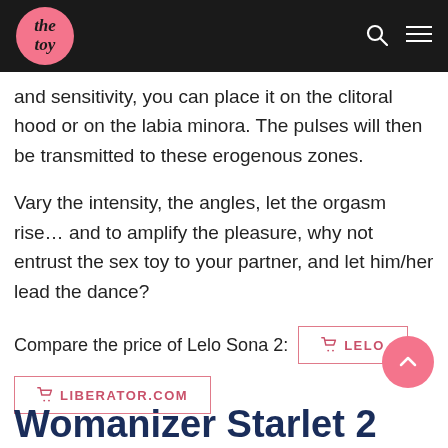the toy
and sensitivity, you can place it on the clitoral hood or on the labia minora. The pulses will then be transmitted to these erogenous zones.
Vary the intensity, the angles, let the orgasm rise… and to amplify the pleasure, why not entrust the sex toy to your partner, and let him/her lead the dance?
Compare the price of Lelo Sona 2:  ☛ LELO   ☛ LIBERATOR.COM
Womanizer Starlet 2